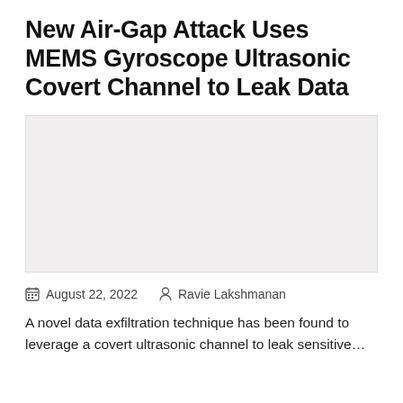New Air-Gap Attack Uses MEMS Gyroscope Ultrasonic Covert Channel to Leak Data
[Figure (photo): Gray placeholder image for article illustration]
August 22, 2022   Ravie Lakshmanan
A novel data exfiltration technique has been found to leverage a covert ultrasonic channel to leak sensitive…